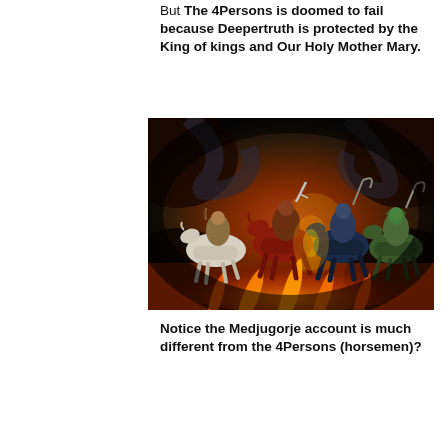But The 4Persons is doomed to fail because Deepertruth is protected by the King of kings and Our Holy Mother Mary.
[Figure (illustration): Fantasy illustration of the Four Horsemen of the Apocalypse riding through fire and smoke. Four riders on horses (white, red, dark blue, pale green) with weapons including a bow, sword, and scythe, amid flames and dark swirling clouds.]
Notice the Medjugorje account is much different from the 4Persons (horsemen)?